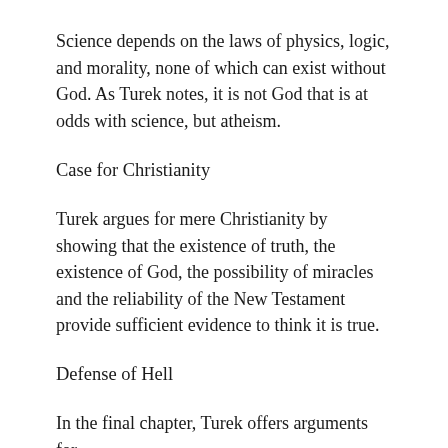Science depends on the laws of physics, logic, and morality, none of which can exist without God. As Turek notes, it is not God that is at odds with science, but atheism.
Case for Christianity
Turek argues for mere Christianity by showing that the existence of truth, the existence of God, the possibility of miracles and the reliability of the New Testament provide sufficient evidence to think it is true.
Defense of Hell
In the final chapter, Turek offers arguments for